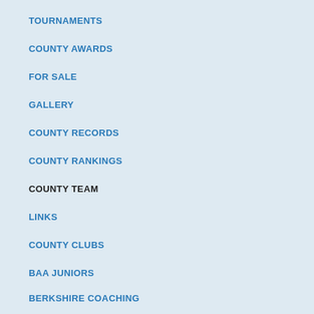TOURNAMENTS
COUNTY AWARDS
FOR SALE
GALLERY
COUNTY RECORDS
COUNTY RANKINGS
COUNTY TEAM
LINKS
COUNTY CLUBS
BAA JUNIORS
BERKSHIRE COACHING